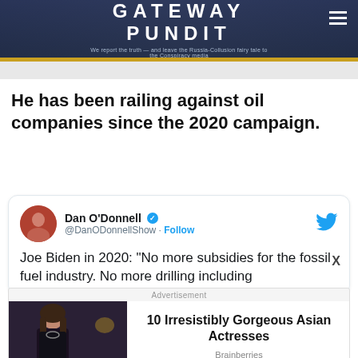GATEWAY PUNDIT — We report the truth — and leave the Russia-Collusion fairy tale to the Conspiracy media
He has been railing against oil companies since the 2020 campaign.
[Figure (screenshot): Embedded tweet by Dan O'Donnell (@DanODonnellShow) with Follow button and Twitter bird icon. Tweet text: Joe Biden in 2020: "No more subsidies for the fossil fuel industry. No more drilling including..."]
[Figure (infographic): Advertisement overlay: '10 Irresistibly Gorgeous Asian Actresses' from Brainberries, with a photo of a dark-haired woman in dark clothing on the left side.]